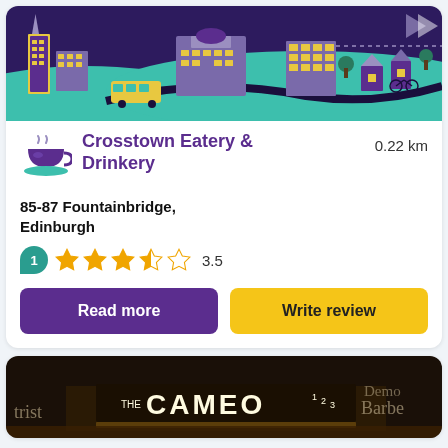[Figure (illustration): Illustrated city skyline banner with purple background, teal ground, buildings, bus, bicycle, trees]
Crosstown Eatery & Drinkery
0.22 km
85-87 Fountainbridge, Edinburgh
1 review bubble, 3.5 star rating
Read more
Write review
[Figure (photo): Night-time photo of The Cameo cinema 1 2 3 with illuminated sign]